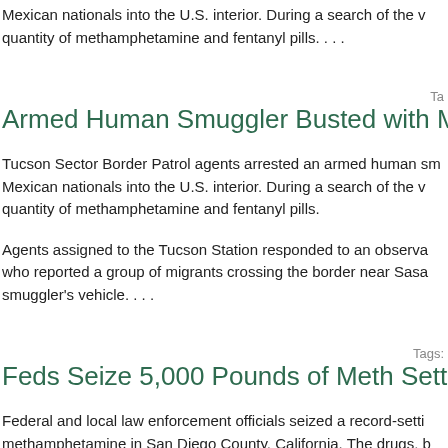Mexican nationals into the U.S. interior. During a search of the v quantity of methamphetamine and fentanyl pills. . . .
Tags:
Armed Human Smuggler Busted with Meth, Fentan
Tucson Sector Border Patrol agents arrested an armed human s Mexican nationals into the U.S. interior. During a search of the v quantity of methamphetamine and fentanyl pills.
Agents assigned to the Tucson Station responded to an observa who reported a group of migrants crossing the border near Sasa smuggler's vehicle. . . .
Tags:
Feds Seize 5,000 Pounds of Meth Setting Record fo
Federal and local law enforcement officials seized a record-setti methamphetamine in San Diego County, California. The drugs, b in excess of 5,000 pounds and are reported to be the largest se